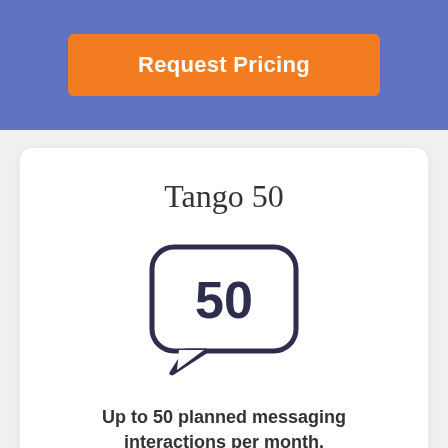[Figure (other): Orange 'Request Pricing' button on a blue/purple header bar]
Tango 50
[Figure (illustration): Chat bubble icon with the number 50 inside]
Up to 50 planned messaging interactions per month.
Arm your team with our all-in-one messaging platform and to use with us Advisor t